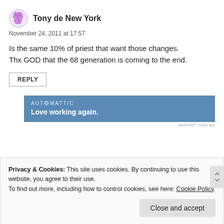[Figure (illustration): Purple pixel/avatar icon for user Tony de New York]
Tony de New York
November 24, 2011 at 17:57
Is the same 10% of priest that want those changes. Thx GOD that the 68 generation is coming to the end.
REPLY
[Figure (screenshot): Automattic ad banner with text 'AUTOMATTIC' and 'Love working again.' on a blue background]
REPORT THIS AD
Privacy & Cookies: This site uses cookies. By continuing to use this website, you agree to their use.
To find out more, including how to control cookies, see here: Cookie Policy
Close and accept